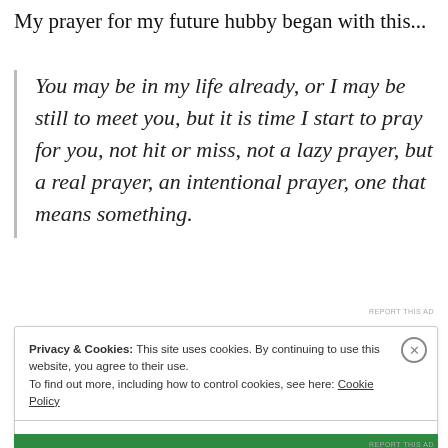My prayer for my future hubby began with this…
You may be in my life already, or I may be still to meet you, but it is time I start to pray for you, not hit or miss, not a lazy prayer, but a real prayer, an intentional prayer, one that means something.
REPORT THIS AD
Privacy & Cookies: This site uses cookies. By continuing to use this website, you agree to their use.
To find out more, including how to control cookies, see here: Cookie Policy
Close and accept
REPORT THIS AD